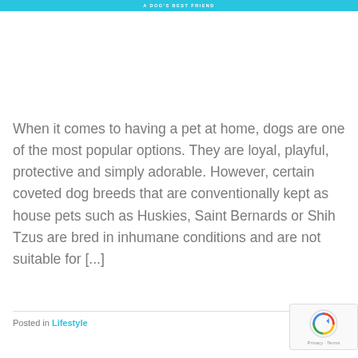A DOG'S BEST FRIEND
When it comes to having a pet at home, dogs are one of the most popular options. They are loyal, playful, protective and simply adorable. However, certain coveted dog breeds that are conventionally kept as house pets such as Huskies, Saint Bernards or Shih Tzus are bred in inhumane conditions and are not suitable for [...]
Posted in Lifestyle